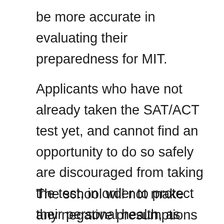be more accurate in evaluating their preparedness for MIT.
Applicants who have not already taken the SAT/ACT test yet, and cannot find an opportunity to do so safely are discouraged from taking the test, in order to protect their personal health, as well as the health of their family and community.
The school will not make any negative presumptions regarding academic preparation based solely on the absence of